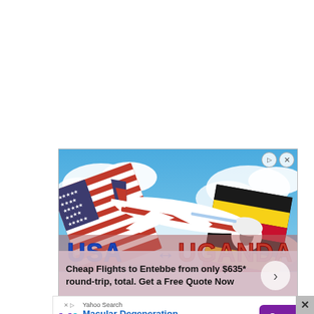[Figure (illustration): Advertisement for USA to Uganda flights. Shows an airplane flying over clouds with American flag on left and Ugandan flag on right. Large text reads 'USA ↔ UGANDA' in blue and red. Below shows text 'Cheap Flights to Entebbe from only $635* round-trip, total. Get a Free Quote Now' with a right-arrow button.]
[Figure (illustration): Yahoo Search advertisement banner. Shows Yahoo logo (Y! in purple/cyan), label 'Yahoo Search', title 'Macular Degeneration Treatment' in blue, and a purple 'Open' button. Has small X and ad-choice icons on left.]